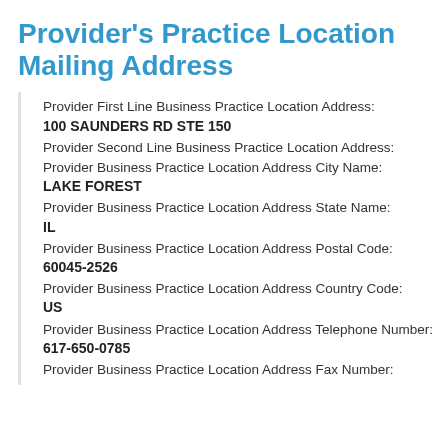Provider's Practice Location Mailing Address
Provider First Line Business Practice Location Address:
100 SAUNDERS RD STE 150
Provider Second Line Business Practice Location Address:
Provider Business Practice Location Address City Name:
LAKE FOREST
Provider Business Practice Location Address State Name:
IL
Provider Business Practice Location Address Postal Code:
60045-2526
Provider Business Practice Location Address Country Code:
US
Provider Business Practice Location Address Telephone Number:
617-650-0785
Provider Business Practice Location Address Fax Number: